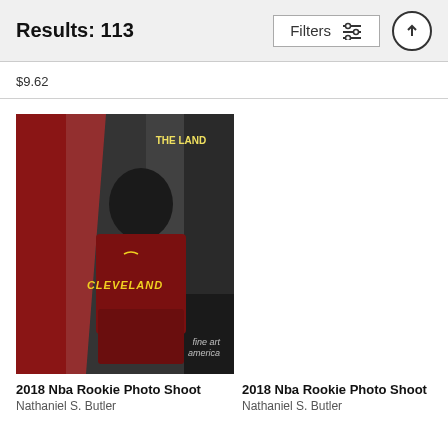Results: 113  Filters
$9.62
[Figure (photo): NBA player in Cleveland Cavaliers maroon jersey sitting during 2018 NBA Rookie Photo Shoot. Text 'THE LAND' visible on a dark jersey in background. Fine Art America watermark in bottom right corner.]
2018 Nba Rookie Photo Shoot
Nathaniel S. Butler
2018 Nba Rookie Photo Shoot
Nathaniel S. Butler